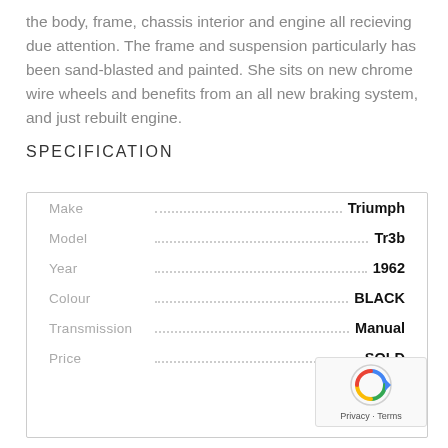the body, frame, chassis interior and engine all recieving due attention. The frame and suspension particularly has been sand-blasted and painted. She sits on new chrome wire wheels and benefits from an all new braking system, and just rebuilt engine.
SPECIFICATION
| Field | Value |
| --- | --- |
| Make | Triumph |
| Model | Tr3b |
| Year | 1962 |
| Colour | BLACK |
| Transmission | Manual |
| Price | SOLD |